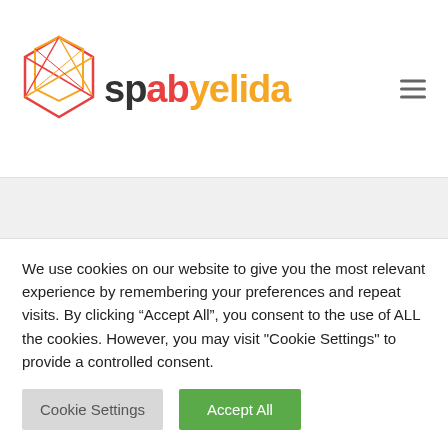spabyelida
Trogarzo
It seems we can't find what you're looking for. Perhaps searching can help.
We use cookies on our website to give you the most relevant experience by remembering your preferences and repeat visits. By clicking "Accept All", you consent to the use of ALL the cookies. However, you may visit "Cookie Settings" to provide a controlled consent.